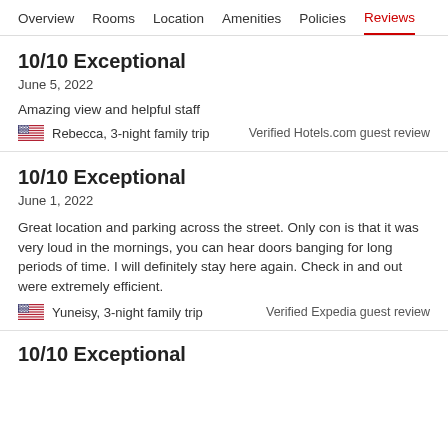Overview  Rooms  Location  Amenities  Policies  Reviews
10/10 Exceptional
June 5, 2022
Amazing view and helpful staff
Rebecca, 3-night family trip
Verified Hotels.com guest review
10/10 Exceptional
June 1, 2022
Great location and parking across the street. Only con is that it was very loud in the mornings, you can hear doors banging for long periods of time. I will definitely stay here again. Check in and out were extremely efficient.
Yuneisy, 3-night family trip
Verified Expedia guest review
10/10 Exceptional